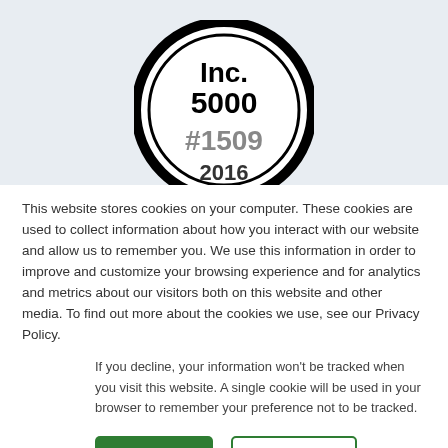[Figure (logo): Inc. 5000 #1509 2016 circular badge/seal in black and gray]
This website stores cookies on your computer. These cookies are used to collect information about how you interact with our website and allow us to remember you. We use this information in order to improve and customize your browsing experience and for analytics and metrics about our visitors both on this website and other media. To find out more about the cookies we use, see our Privacy Policy.
If you decline, your information won't be tracked when you visit this website. A single cookie will be used in your browser to remember your preference not to be tracked.